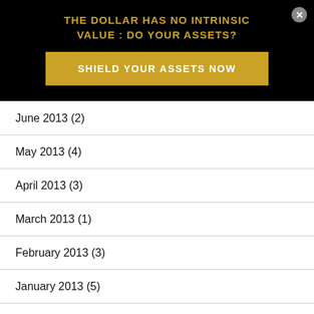THE DOLLAR HAS NO INTRINSIC VALUE : DO YOUR ASSETS?
SHIELD YOUR ASSETS NOW
June 2013 (2)
May 2013 (4)
April 2013 (3)
March 2013 (1)
February 2013 (3)
January 2013 (5)
December 2012 (6)
November 2012 (3)